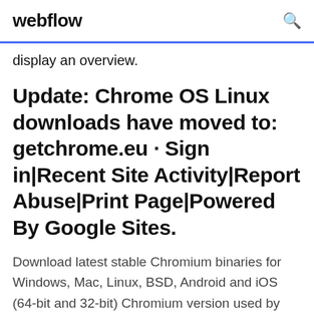webflow
display an overview.
Update: Chrome OS Linux downloads have moved to: getchrome.eu · Sign in|Recent Site Activity|Report Abuse|Print Page|Powered By Google Sites.
Download latest stable Chromium binaries for Windows, Mac, Linux, BSD, Android and iOS (64-bit and 32-bit) Chromium version used by this web browser: new Marmaduke shares his "ungoogled-chromium" builds for #windows and #mac. Your OS and architecture (32/64-bit)